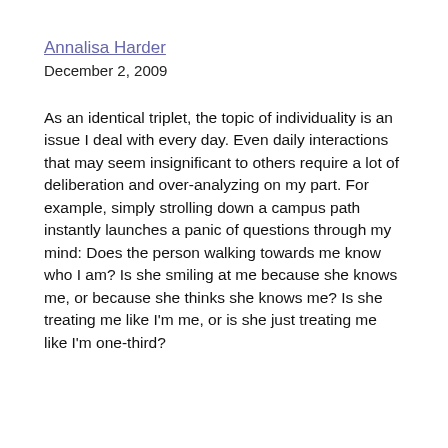Annalisa Harder
December 2, 2009
As an identical triplet, the topic of individuality is an issue I deal with every day. Even daily interactions that may seem insignificant to others require a lot of deliberation and over-analyzing on my part. For example, simply strolling down a campus path instantly launches a panic of questions through my mind: Does the person walking towards me know who I am? Is she smiling at me because she knows me, or because she thinks she knows me? Is she treating me like I'm me, or is she just treating me like I'm one-third?